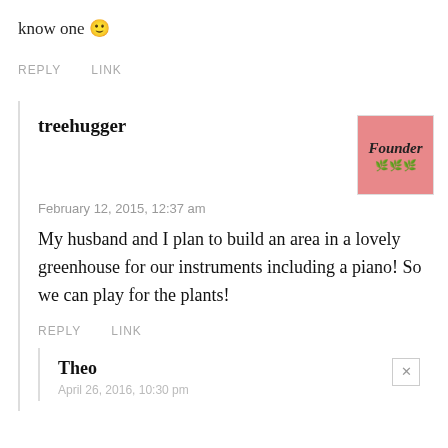know one 🙂
REPLY   LINK
treehugger
February 12, 2015, 12:37 am
My husband and I plan to build an area in a lovely greenhouse for our instruments including a piano! So we can play for the plants!
REPLY   LINK
Theo
April 26, 2016, 10:30 pm